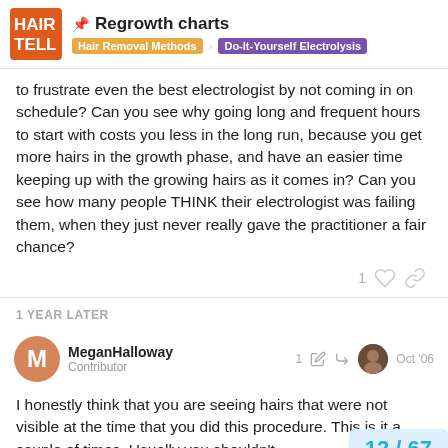Regrowth charts — Hair Removal Methods > Do-It-Yourself Electrolysis
to frustrate even the best electrologist by not coming in on schedule? Can you see why going long and frequent hours to start with costs you less in the long run, because you get more hairs in the growth phase, and have an easier time keeping up with the growing hairs as it comes in? Can you see how many people THINK their electrologist was failing them, when they just never really gave the practitioner a fair chance?
1 YEAR LATER
MeganHalloway
Contributor
1   Oct '06
I honestly think that you are seeing hairs that were not visible at the time that you did this procedure. This is it a couple of times. Usually you shouldn't